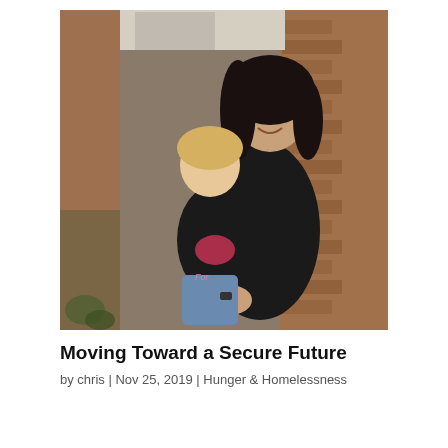[Figure (photo): A woman with dark curly hair wearing a black t-shirt holds a young blonde girl wearing a black t-shirt with a watermelon graphic and jeans. They are standing in front of a brick wall and smiling.]
Moving Toward a Secure Future
by chris | Nov 25, 2019 | Hunger & Homelessness